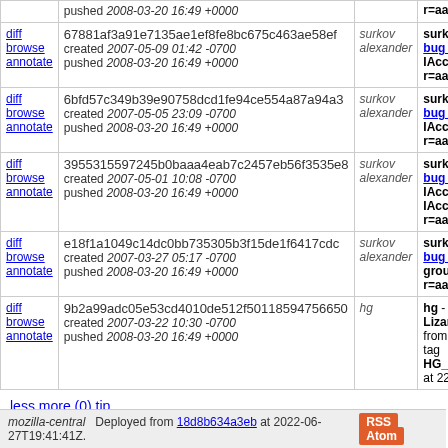| links | changeset | author | description |
| --- | --- | --- | --- |
| diff browse annotate | 67881af3a91e7135ae1ef8fe8bc675c463ae58ef
created 2007-05-09 01:42 -0700
pushed 2008-03-20 16:49 +0000 | surkov alexander | surkov bug 38... IAccess... r=aaro |
| diff browse annotate | 6bfd57c349b39e90758dcd1fe94ce554a87a94a3
created 2007-05-05 23:09 -0700
pushed 2008-03-20 16:49 +0000 | surkov alexander | surkov bug 37... IAccess... r=aaro |
| diff browse annotate | 3955315597245b0baaa4eab7c2457eb56f3535e8
created 2007-05-01 10:08 -0700
pushed 2008-03-20 16:49 +0000 | surkov alexander | surkov bug 37... IAcces... IAcces... r=aaro |
| diff browse annotate | e18f1a1049c14dc0bb735305b3f15de1f6417cdc
created 2007-03-27 05:17 -0700
pushed 2008-03-20 16:49 +0000 | surkov alexander | surkov bug 37... groupb... r=aaro |
| diff browse annotate | 9b2a99adc05e53cd4010de512f50118594756650
created 2007-03-22 10:30 -0700
pushed 2008-03-20 16:49 +0000 | hg | hg - Fr Lizard from C tag HG_RI at 22 M |
less more (0) tip
mozilla-central   Deployed from 18d8b634a3eb at 2022-06-27T19:41:41Z.   RSS  Atom